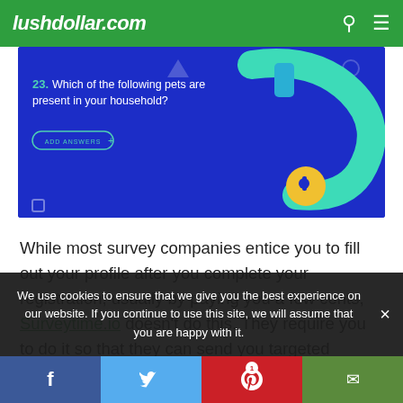lushdollar.com
[Figure (screenshot): Screenshot of Surveytime.io survey interface showing question 23: 'Which of the following pets are present in your household?' with an ADD ANSWERS button, on a dark blue background with a teal pet collar graphic on the right side.]
While most survey companies entice you to fill out your profile after you complete your registration, usually by paying you a few cents, Surveytime.io doesn't do this. They require you to do it so that they can send you targeted survey opportunities. That way, you won't find
We use cookies to ensure that we give you the best experience on our website. If you continue to use this site, we will assume that you are happy with it.
Facebook | Twitter | Pinterest (1) | Email